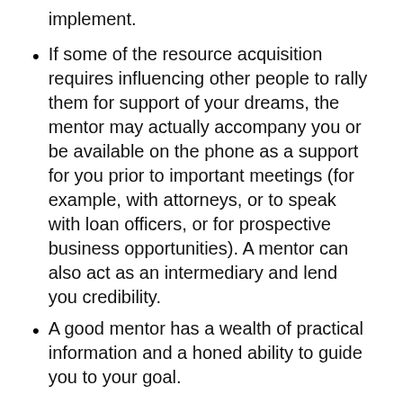implement.
If some of the resource acquisition requires influencing other people to rally them for support of your dreams, the mentor may actually accompany you or be available on the phone as a support for you prior to important meetings (for example, with attorneys, or to speak with loan officers, or for prospective business opportunities). A mentor can also act as an intermediary and lend you credibility.
A good mentor has a wealth of practical information and a honed ability to guide you to your goal.
A Metaphor for Deciding—